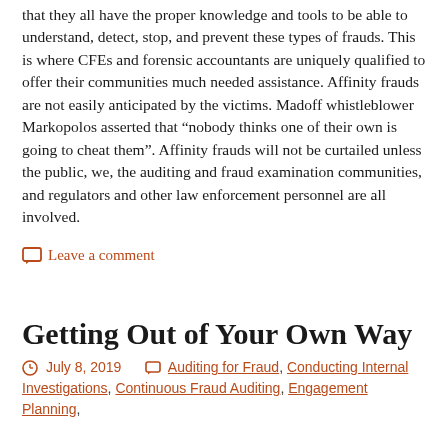that they all have the proper knowledge and tools to be able to understand, detect, stop, and prevent these types of frauds. This is where CFEs and forensic accountants are uniquely qualified to offer their communities much needed assistance. Affinity frauds are not easily anticipated by the victims. Madoff whistleblower Markopolos asserted that “nobody thinks one of their own is going to cheat them”. Affinity frauds will not be curtailed unless the public, we, the auditing and fraud examination communities, and regulators and other law enforcement personnel are all involved.
Leave a comment
Getting Out of Your Own Way
July 8, 2019   Auditing for Fraud, Conducting Internal Investigations, Continuous Fraud Auditing, Engagement Planning,